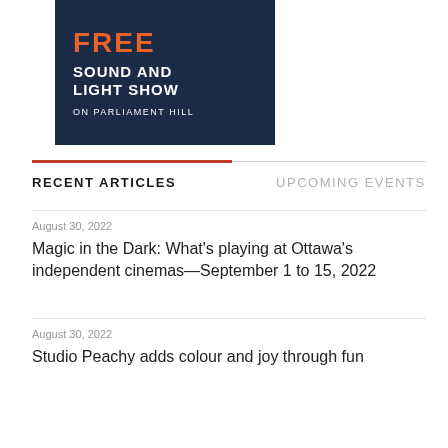[Figure (other): Dark navy blue banner advertisement for a Free Sound and Light Show on Parliament Hill. Shows 'FREE' in large orange bold text, 'SOUND AND LIGHT SHOW' in white bold text, 'ON PARLIAMENT HILL' in smaller white text.]
RECENT ARTICLES
UPCOMING EVENTS
August 30, 2022
Magic in the Dark: What's playing at Ottawa's independent cinemas—September 1 to 15, 2022
August 30, 2022
Studio Peachy adds colour and joy through fun